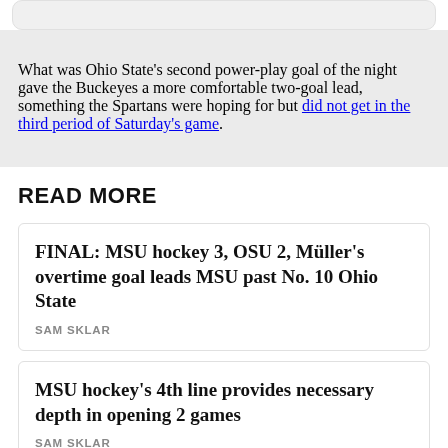What was Ohio State's second power-play goal of the night gave the Buckeyes a more comfortable two-goal lead, something the Spartans were hoping for but did not get in the third period of Saturday's game.
READ MORE
FINAL: MSU hockey 3, OSU 2, Müller's overtime goal leads MSU past No. 10 Ohio State
SAM SKLAR
MSU hockey's 4th line provides necessary depth in opening 2 games
SAM SKLAR